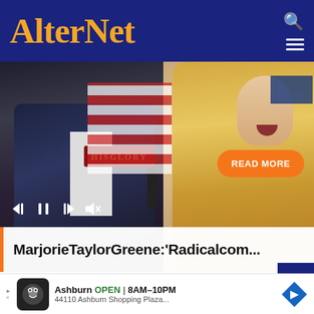AlterNet
[Figure (screenshot): Video screenshot showing two people being interviewed at a HisGlory event, with playback controls and a READ MORE button overlay, and a title bar reading: MarjorieTaylorGreene:'Radicalcom...']
AROUND THE WEB
[Figure (logo): Taboola logo (C-shaped icon in dark green and white)]
Ashburn OPEN 8AM–10PM 44110 Ashburn Shopping Plaza...